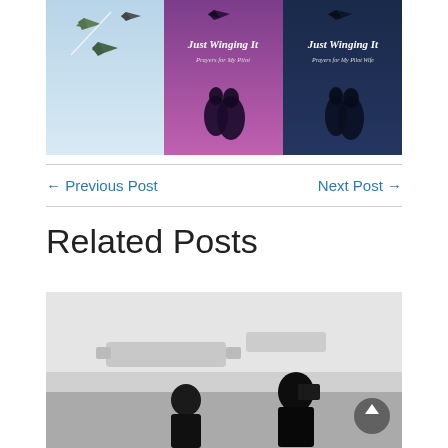[Figure (photo): Book covers showing 'Just Winging It: Prayers for My Pilot' and 'Just Winging It: Prayers for My Pilot Wife', with airplanes flying on the left side]
← Previous Post    Next Post →
Related Posts
[Figure (photo): Black and white photo of a person photographing airplanes on a tarmac]